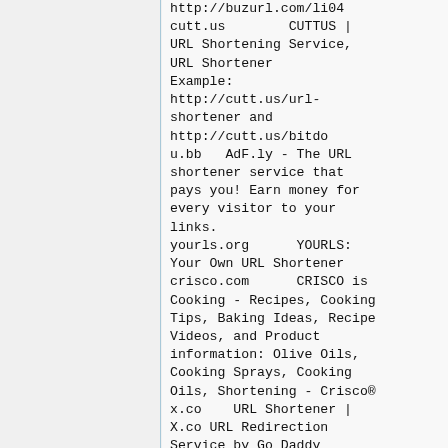http://buzurl.com/li04
cutt.us         CUTTUS | URL Shortening Service, URL Shortener Example: http://cutt.us/url-shortener and http://cutt.us/bitdou.bb    AdF.ly - The URL shortener service that pays you! Earn money for every visitor to your links.
yourls.org       YOURLS: Your Own URL Shortener
crisco.com       CRISCO is Cooking - Recipes, Cooking Tips, Baking Ideas, Recipe Videos, and Product information: Olive Oils, Cooking Sprays, Cooking Oils, Shortening - Crisco®
x.co    URL Shortener | X.co URL Redirection Service by Go Daddy